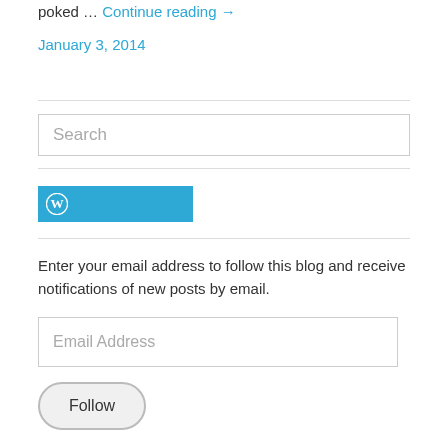poked … Continue reading →
January 3, 2014
[Figure (other): Search input box with placeholder text 'Search']
[Figure (logo): WordPress logo button (W icon) in blue/cyan color]
Enter your email address to follow this blog and receive notifications of new posts by email.
[Figure (other): Email Address input box with placeholder text 'Email Address']
[Figure (other): Follow button with rounded rectangle border]